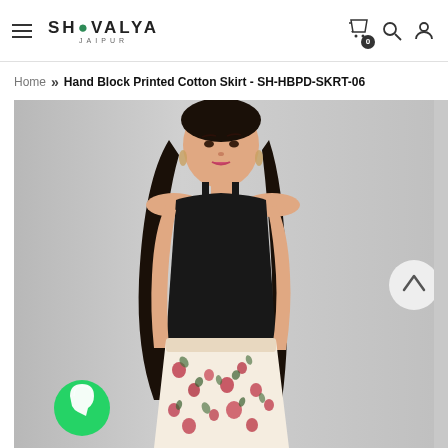SHIVALYA JAIPUR — navigation header with hamburger menu, logo, cart (0), search, and account icons
Home » Hand Block Printed Cotton Skirt - SH-HBPD-SKRT-06
[Figure (photo): Young woman wearing a black spaghetti-strap top and a white floral-print (red and green flowers) cotton skirt, photographed against a light grey background. A green WhatsApp icon button appears bottom-left and a scroll-to-top arrow button appears on the right edge.]